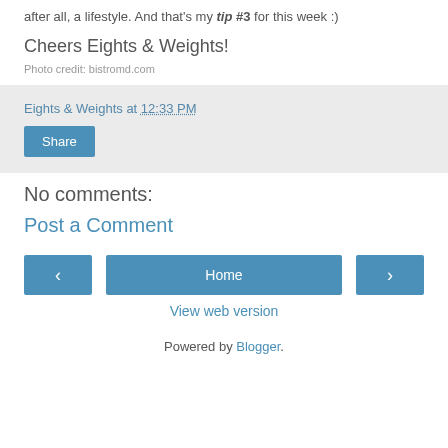after all, a lifestyle.  And that's my tip #3 for this week :)
Cheers Eights & Weights!
Photo credit: bistromd.com
Eights & Weights at 12:33 PM
Share
No comments:
Post a Comment
Home
View web version
Powered by Blogger.